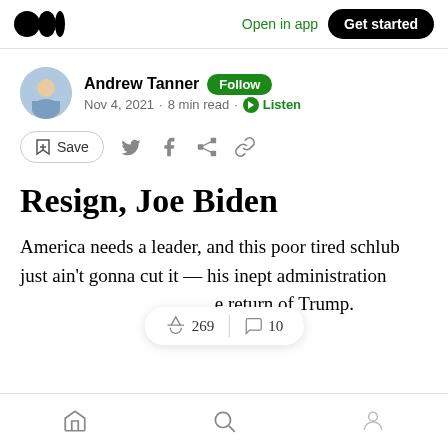Open in app  Get started
Andrew Tanner  Follow
Nov 4, 2021 · 8 min read · Listen
Save (social share icons)
Resign, Joe Biden
America needs a leader, and this poor tired schlub just ain't gonna cut it — his inept administration [269 claps | 10 comments] e return of Trump.
(home icon) (search icon) (profile icon)